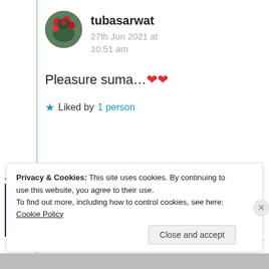tubasarwat
27th Jun 2021 at 10:51 am
Pleasure suma...❤❤
★ Liked by 1 person
[Figure (infographic): Advertisement banner: WordPress Hosting That Means BUSINESS. with P logo and OPEN sign image]
Advertisements
REPORT THIS AD
Privacy & Cookies: This site uses cookies. By continuing to use this website, you agree to their use. To find out more, including how to control cookies, see here: Cookie Policy
Close and accept